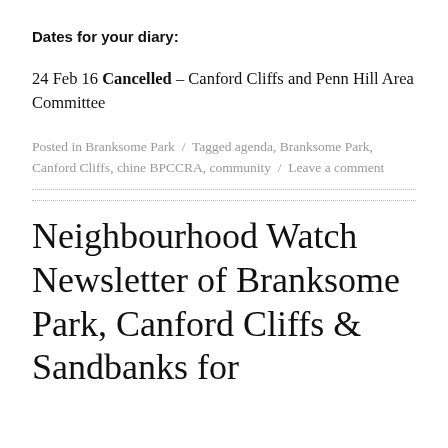Dates for your diary:
24 Feb 16 Cancelled – Canford Cliffs and Penn Hill Area Committee
Posted in Branksome Park / Tagged agenda, Branksome Park, Canford Cliffs, chine BPCCRA, community / Leave a comment
Neighbourhood Watch Newsletter of Branksome Park, Canford Cliffs & Sandbanks for